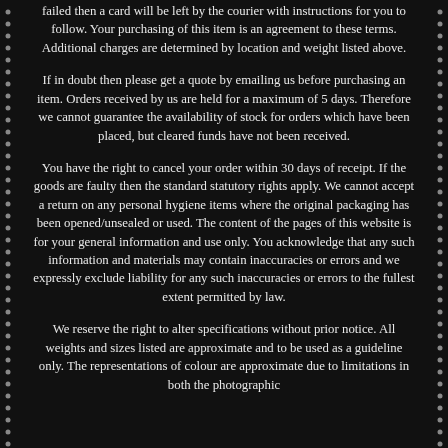failed then a card will be left by the courier with instructions for you to follow. Your purchasing of this item is an agreement to these terms. Additional charges are determined by location and weight listed above.
If in doubt then please get a quote by emailing us before purchasing an item. Orders received by us are held for a maximum of 5 days. Therefore we cannot guarantee the availability of stock for orders which have been placed, but cleared funds have not been received.
You have the right to cancel your order within 30 days of receipt. If the goods are faulty then the standard statutory rights apply. We cannot accept a return on any personal hygiene items where the original packaging has been opened/unsealed or used. The content of the pages of this website is for your general information and use only. You acknowledge that any such information and materials may contain inaccuracies or errors and we expressly exclude liability for any such inaccuracies or errors to the fullest extent permitted by law.
We reserve the right to alter specifications without prior notice. All weights and sizes listed are approximate and to be used as a guideline only. The representations of colour are approximate due to limitations in both the photographic